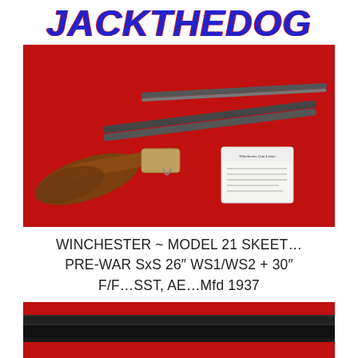JACKTHEDOG
[Figure (photo): Photo of a Winchester Model 21 Skeet side-by-side shotgun with an extra 30-inch barrel set and a letter/document, displayed on a red background fabric.]
WINCHESTER ~ MODEL 21 SKEET… PRE-WAR SxS 26″ WS1/WS2 + 30″ F/F…SST, AE…Mfd 1937
[Figure (photo): Close-up photo of the shotgun barrel on a red background, showing the dark blued steel barrel surface.]